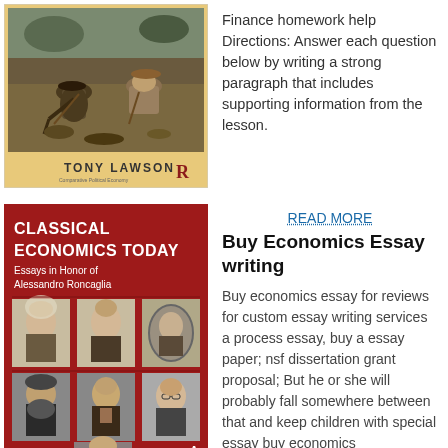[Figure (illustration): Book cover showing two workers digging, with name Tony Lawson at bottom and a publisher logo]
Finance homework help
Directions: Answer each question below by writing a strong paragraph that includes supporting information from the lesson.
[Figure (illustration): Book cover: Classical Economics Today, Essays in Honor of Alessandro Roncaglia, edited by Marcello Corsi, Jan Kregel and Carlo D'Ippoliti. Red cover with photos of historical economists.]
READ MORE
Buy Economics Essay writing
Buy economics essay for reviews for custom essay writing services a process essay, buy a essay paper; nsf dissertation grant proposal; But he or she will probably fall somewhere between that and keep children with special essay buy economics